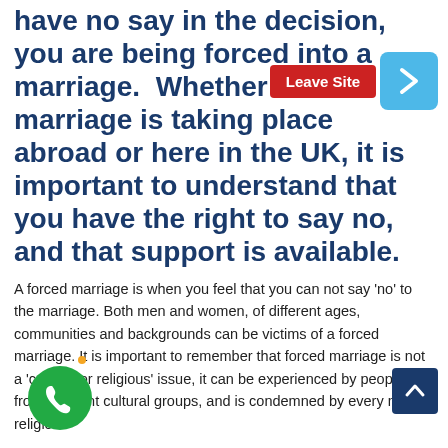have no say in the decision, you are being forced into a marriage.  Whether the marriage is taking place abroad or here in the UK, it is important to understand that you have the right to say no, and that support is available.
[Figure (other): Red 'Leave Site' button and blue arrow button overlaid on the heading text]
A forced marriage is when you feel that you can not say 'no' to the marriage. Both men and women, of different ages, communities and backgrounds can be victims of a forced marriage. It is important to remember that forced marriage is not a 'cultural or religious' issue, it can be experienced by people from different cultural groups, and is condemned by every major religion.
[Figure (other): Green phone icon button (circular) at bottom left]
[Figure (other): Dark blue scroll-to-top arrow button at bottom right]